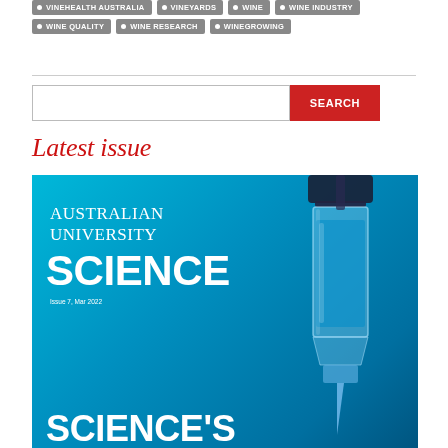VINEHEALTH AUSTRALIA
VINEYARDS
WINE
WINE INDUSTRY
WINE QUALITY
WINE RESEARCH
WINEGROWING
Latest issue
[Figure (photo): Cover of Australian University Science magazine, Issue 7 Mar 2022, showing blue gradient background with a close-up syringe needle and the headline 'SCIENCE'S' at the bottom. Text reads: AUSTRALIAN UNIVERSITY SCIENCE, Issue 7, Mar 2022.]